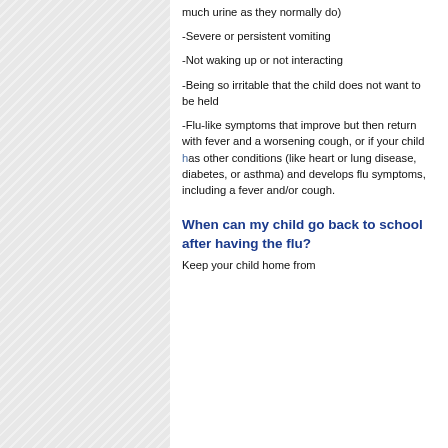much urine as they normally do)
-Severe or persistent vomiting
-Not waking up or not interacting
-Being so irritable that the child does not want to be held
-Flu-like symptoms that improve but then return with fever and a worsening cough, or if your child has other conditions (like heart or lung disease, diabetes, or asthma) and develops flu symptoms, including a fever and/or cough.
When can my child go back to school after having the flu?
Keep your child home from